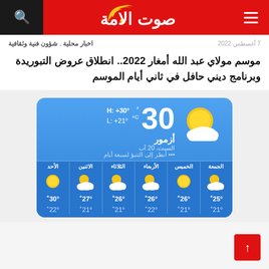صوت الامة - header with search and menu
اخبار محلية , شؤون فنية وثقافية | 7 أغسطس 2022
موسم مولاي عبد الله أمغار 2022.. انطلاق عروض التبوريدة وبرنامج ديني حافل في ثاني أيام الموسم
[Figure (other): Weather widget showing current temperature 30°C in أزمور (Azemmour) on Saturday, 20 August, with high +30° and low +21°, plus 6-day forecast: الأحد 30°+/22°+, الاثنين 27°+/21°+, الثلاثاء 26°+/21°+, الأربعاء 26°+/22°+, الخميس 26°+/21°+, الجمعة 25°+/21°+]